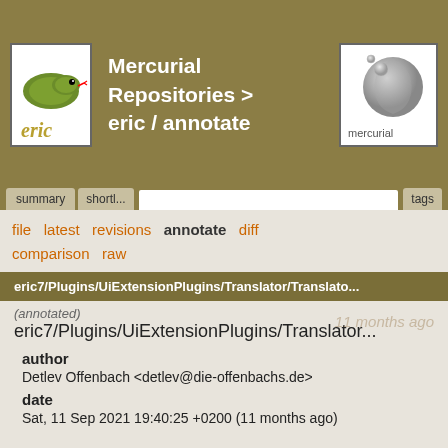Mercurial Repositories > eric / annotate
summary | shortlog | tags
file  latest  revisions  annotate  diff  comparison  raw
eric7/Plugins/UiExtensionPlugins/Translator/Translato...
(annotated)
eric7/Plugins/UiExtensionPlugins/Translator...
author
Detlev Offenbach <detlev@die-offenbachs.de>
date
Sat, 11 Sep 2021 19:40:25 +0200 (11 months ago)